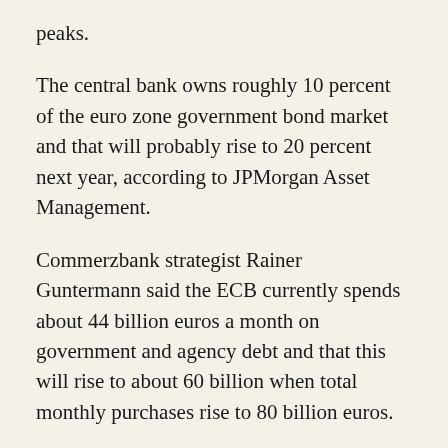peaks.
The central bank owns roughly 10 percent of the euro zone government bond market and that will probably rise to 20 percent next year, according to JPMorgan Asset Management.
Commerzbank strategist Rainer Guntermann said the ECB currently spends about 44 billion euros a month on government and agency debt and that this will rise to about 60 billion when total monthly purchases rise to 80 billion euros.
Since the ECB is only expected to start buying corporate bonds by the end of June, the interim period is expected to see purchases focused on government bonds.